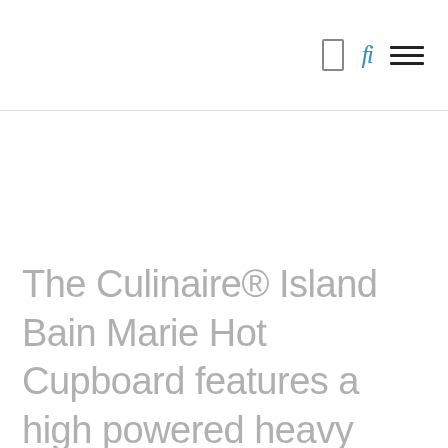[ icon: rectangle ] [ icon: fi ] [ icon: hamburger menu ]
The Culinaire® Island Bain Marie Hot Cupboard features a high powered heavy duty Bain Marie that is designed to hold hot food at the optimum temperature in GN pans